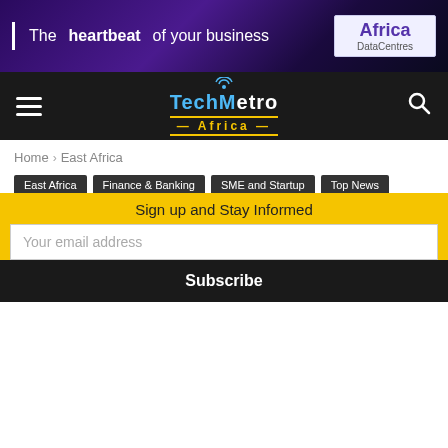[Figure (illustration): Africa DataCentres advertisement banner: purple/dark background with text 'The heartbeat of your business' and Africa DataCentres logo box on right]
TechMetro Africa navigation bar with hamburger menu, TechMetro Africa logo, and search icon
Home › East Africa
East Africa
Finance & Banking
SME and Startup
Top News
Kenya's Tanda fintech startup gets funding boost f...
Sign up and Stay Informed
Your email address
Subscribe